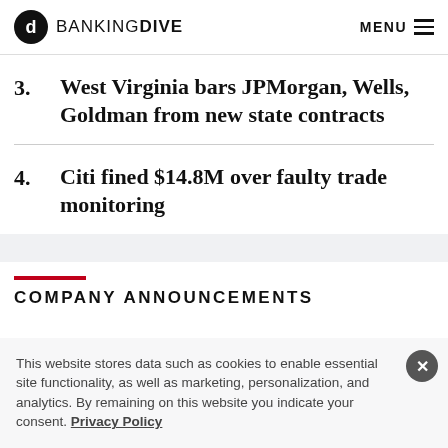BANKING DIVE  MENU
3.  West Virginia bars JPMorgan, Wells, Goldman from new state contracts
4.  Citi fined $14.8M over faulty trade monitoring
COMPANY ANNOUNCEMENTS
This website stores data such as cookies to enable essential site functionality, as well as marketing, personalization, and analytics. By remaining on this website you indicate your consent. Privacy Policy